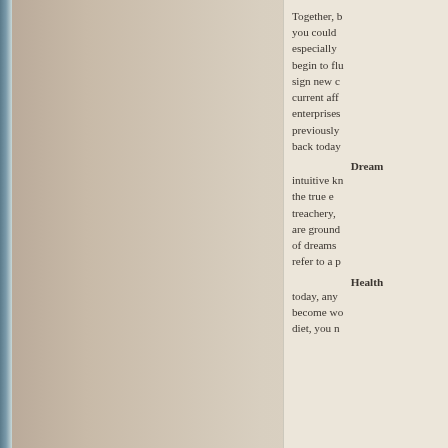[Figure (photo): Partial view of a photo on the left side of the page, showing what appears to be a nature or outdoor scene with blue/teal tones on the far left edge, fading into the beige page background.]
Together, b... you could ... especially ... begin to flu... sign new c... current aff... enterprises... previously ... back today...
Dream
intuitive kn... the true e... treachery, ... are ground... of dreams ... refer to a p...
Health
today, any... become wo... diet, you n...